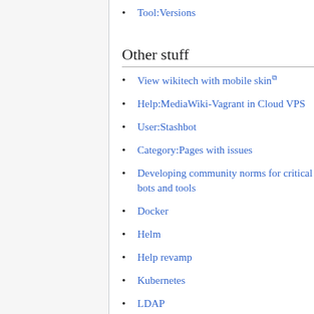Tool:Versions
Other stuff
View wikitech with mobile skin
Help:MediaWiki-Vagrant in Cloud VPS
User:Stashbot
Category:Pages with issues
Developing community norms for critical bots and tools
Docker
Helm
Help revamp
Kubernetes
LDAP
Labs-Vagrant
Mobile edit
NewPortals